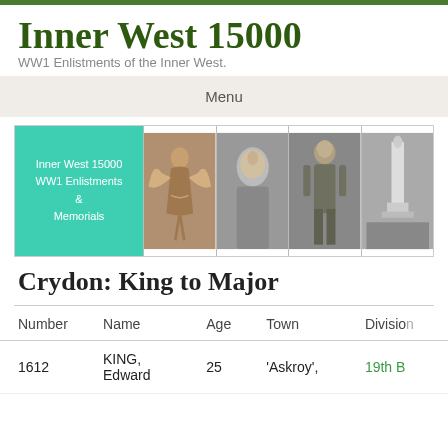Inner West 15000
WW1 Enlistments of the Inner West.
Menu
[Figure (photo): Banner collage with teal/green text box showing 'Inner West 15000 WW1 Enlistments & Memorials', a bronze angel statue, a portrait of a soldier, a standing soldier in uniform, and a war memorial monument.]
Crydon: King to Major
| Number | Name | Age | Town | Division |
| --- | --- | --- | --- | --- |
| 1612 | KING, Edward | 25 | 'Askroy', | 19th B |